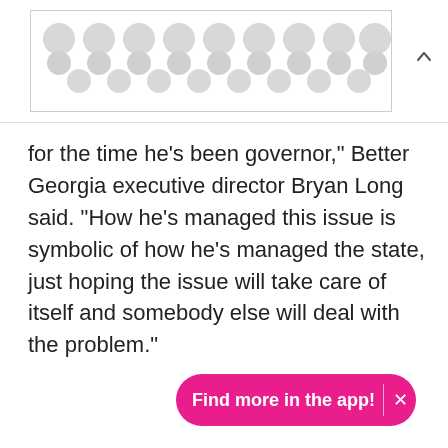[Figure (illustration): A decorative pattern of grey dots/circles arranged in a grid inside a bordered rectangle, serving as a placeholder or banner image at the top of the page.]
for the time he's been governor," Better Georgia executive director Bryan Long said. "How he's managed this issue is symbolic of how he's managed the state, just hoping the issue will take care of itself and somebody else will deal with the problem."